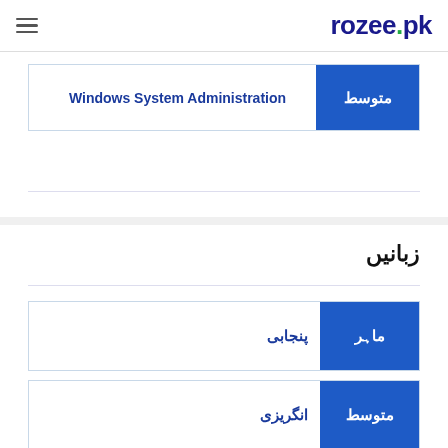rozee.pk
Windows System Administration — متوسط
زبانیں
پنجابی — ماہر
انگریزی — متوسط
اردو — ماہر